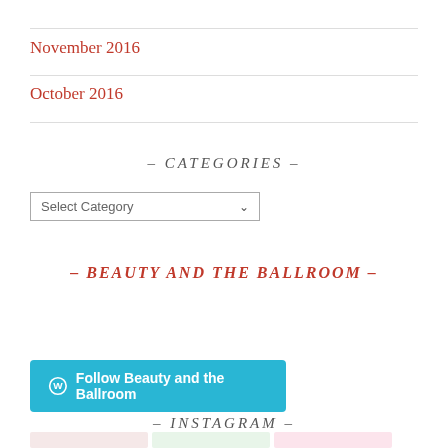November 2016
October 2016
– CATEGORIES –
Select Category
– BEAUTY AND THE BALLROOM –
[Figure (other): Follow Beauty and the Ballroom WordPress follow button]
– INSTAGRAM –
[Figure (photo): Instagram photo thumbnails row]